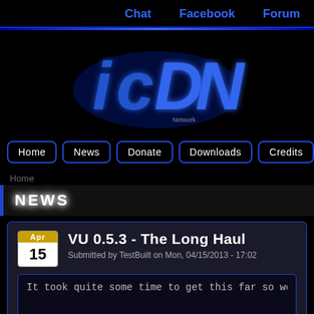Chat   Facebook   Forum
[Figure (logo): ICN Network glowing blue 3D logo on black background]
Home   News   Donate   Downloads   Credits   FA...
Home
NEWS
VU 0.5.3 - The Long Haul
Submitted by TestBuilt on Mon, 04/15/2013 - 17:02
It took quite some time to get this far so we hope y